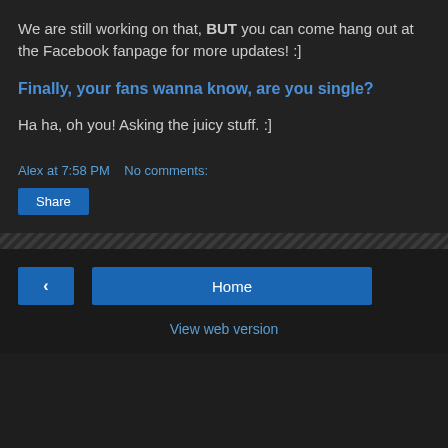We are still working on that, BUT you can come hang out at the Facebook fanpage for more updates! :]
Finally, your fans wanna know, are you single?
Ha ha, oh you! Asking the juicy stuff. :]
Alex at 7:58 PM   No comments:
Share
< Home View web version